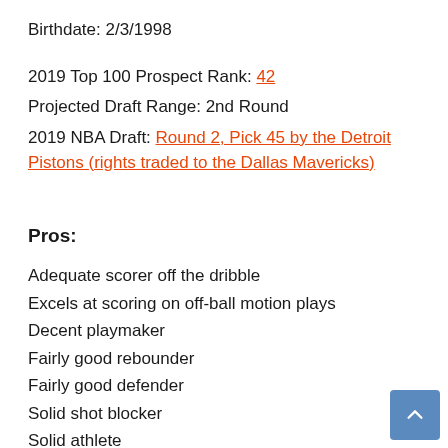Birthdate: 2/3/1998
2019 Top 100 Prospect Rank: 42
Projected Draft Range: 2nd Round
2019 NBA Draft: Round 2, Pick 45 by the Detroit Pistons (rights traded to the Dallas Mavericks)
Pros:
Adequate scorer off the dribble
Excels at scoring on off-ball motion plays
Decent playmaker
Fairly good rebounder
Fairly good defender
Solid shot blocker
Solid athlete